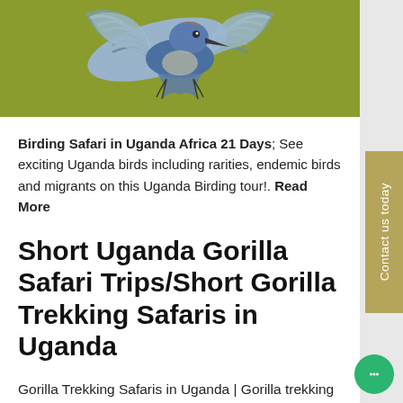[Figure (illustration): A kingfisher bird with spread wings displayed against an olive/yellow-green background, viewed from below showing the wing feather detail in blue and white tones.]
Birding Safari in Uganda Africa 21 Days; See exciting Uganda birds including rarities, endemic birds and migrants on this Uganda Birding tour!. Read More
Short Uganda Gorilla Safari Trips/Short Gorilla Trekking Safaris in Uganda
Gorilla Trekking Safaris in Uganda | Gorilla trekking tour in Uganda